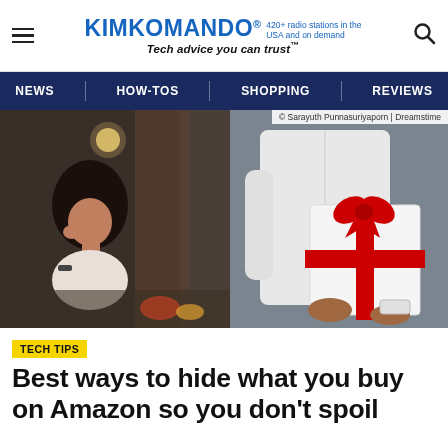KIMKOMANDO® 420+ radio stations in the USA and on demand — Tech advice you can trust™
[Figure (screenshot): KimKomando website navigation bar with NEWS, HOW-TOS, SHOPPING, REVIEWS links on dark blue background]
[Figure (photo): Photo of a woman looking at a man holding a gift box with red ribbon behind his back near a doorway. Credit: © Sarayuth Punnasuriyaporn | Dreamstime]
© Sarayuth Punnasuriyaporn | Dreamstime
TECH TIPS
Best ways to hide what you buy on Amazon so you don't spoil